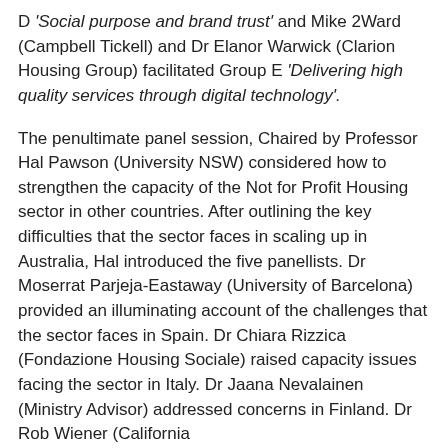D 'Social purpose and brand trust' and Mike 2Ward (Campbell Tickell) and Dr Elanor Warwick (Clarion Housing Group) facilitated Group E 'Delivering high quality services through digital technology'.
The penultimate panel session, Chaired by Professor Hal Pawson (University NSW) considered how to strengthen the capacity of the Not for Profit Housing sector in other countries. After outlining the key difficulties that the sector faces in scaling up in Australia, Hal introduced the five panellists. Dr Moserrat Parjeja-Eastaway (University of Barcelona) provided an illuminating account of the challenges that the sector faces in Spain. Dr Chiara Rizzica (Fondazione Housing Sociale) raised capacity issues facing the sector in Italy. Dr Jaana Nevalainen (Ministry Advisor) addressed concerns in Finland. Dr Rob Wiener (California